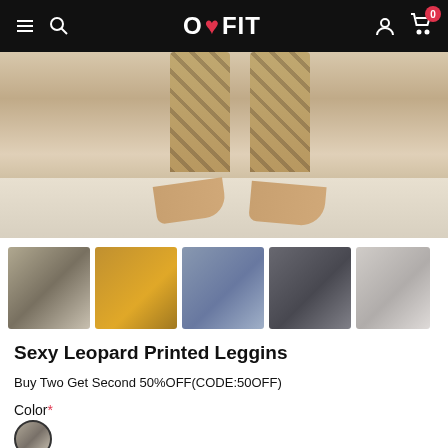O❤FIT — navigation bar with hamburger menu, search, logo, user icon, cart (0)
[Figure (photo): Close-up photo of bare feet wearing leopard print leggings, standing on light wood-grain tile floor.]
[Figure (photo): Thumbnail 1: Woman wearing leopard/grey leggings, full body side pose in studio.]
[Figure (photo): Thumbnail 2: Woman in yellow/orange background wearing patterned leggings, posing.]
[Figure (photo): Thumbnail 3: Woman in white bra and grey/blue leggings posing in front of grey wall.]
[Figure (photo): Thumbnail 4: Woman in dark athletic wear with patterned leggings, outdoor pose.]
[Figure (photo): Thumbnail 5: Close-up of leggings fabric / leg detail on light background.]
Sexy Leopard Printed Leggins
Buy Two Get Second 50%OFF(CODE:50OFF)
Color *
[Figure (other): Color swatch circle showing grey/leopard print legging color option.]